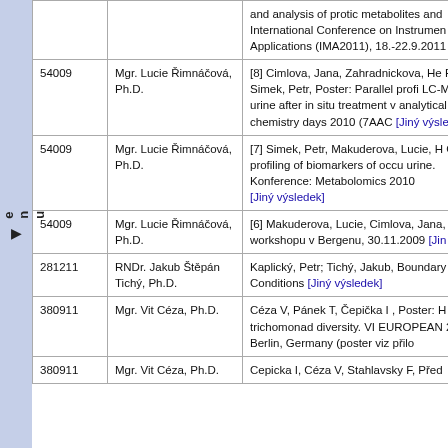| ID | Name | Publication |
| --- | --- | --- |
|  |  | and analysis of protic metabolites and International Conference on Instrument Applications (IMA2011), 18.-22.9.2011 |
| 54009 | Mgr. Lucie Řimnáčová, Ph.D. | [8] Cimlova, Jana, Zahradnickova, Hel Petr, Simek, Petr, Poster: Parallel profi LC-MS in urine after in situ treatment v analytical chemistry days 2010 (7AAC [Jiný výsledek] |
| 54009 | Mgr. Lucie Řimnáčová, Ph.D. | [7] Simek, Petr, Makuderova, Lucie, H GC-MS profiling of biomarkers of occu urine. Konference: Metabolomics 201 [Jiný výsledek] |
| 54009 | Mgr. Lucie Řimnáčová, Ph.D. | [6] Makuderova, Lucie, Cimlova, Jana, workshopu v Bergenu, 30.11.2009 [Jin |
| 281211 | RNDr. Jakub Štěpán Tichý, Ph.D. | Kaplický, Petr; Tichý, Jakub, Boundary Conditions [Jiný výsledek] |
| 380911 | Mgr. Vit Céza, Ph.D. | Céza V, Pánek T, Čepička I , Poster: H trichomonad diversity. VI EUROPEAN 2011, Berlin, Germany (poster viz přilo |
| 380911 | Mgr. Vit Céza, Ph.D. | Cepicka I, Céza V, Stahlavsky F, Před |